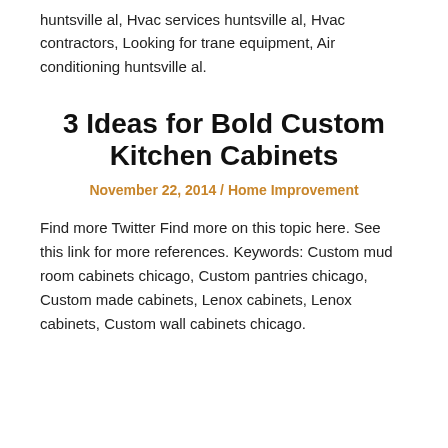huntsville al, Hvac services huntsville al, Hvac contractors, Looking for trane equipment, Air conditioning huntsville al.
3 Ideas for Bold Custom Kitchen Cabinets
November 22, 2014 / Home Improvement
Find more Twitter Find more on this topic here. See this link for more references. Keywords: Custom mud room cabinets chicago, Custom pantries chicago, Custom made cabinets, Lenox cabinets, Lenox cabinets, Custom wall cabinets chicago.